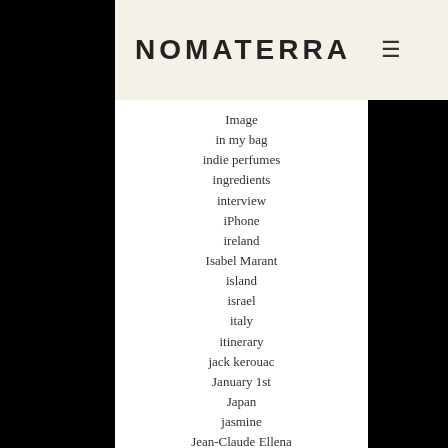NOMATERRA
Image
in my bag
indie perfumes
ingredients
interview
iPhone
ireland
Isabel Marant
island
israel
italy
itinerary
jack kerouac
January 1st
Japan
jasmine
Jean-Claude Ellena
Jet set
John Paul Jones
journey
julia roberts
Karl lagerfeld
kawachi fuji
keep calm and
Kim Schalk
Kindle